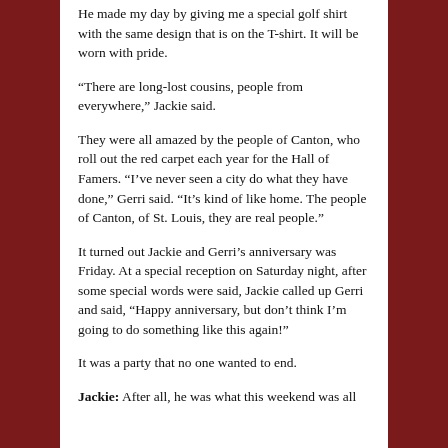He made my day by giving me a special golf shirt with the same design that is on the T-shirt. It will be worn with pride.
“There are long-lost cousins, people from everywhere,” Jackie said.
They were all amazed by the people of Canton, who roll out the red carpet each year for the Hall of Famers. “I’ve never seen a city do what they have done,” Gerri said. “It’s kind of like home. The people of Canton, of St. Louis, they are real people.”
It turned out Jackie and Gerri’s anniversary was Friday. At a special reception on Saturday night, after some special words were said, Jackie called up Gerri and said, “Happy anniversary, but don’t think I’m going to do something like this again!”
It was a party that no one wanted to end.
Jackie: After all, he was what this weekend was all